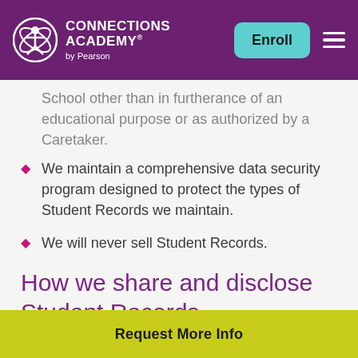Connections Academy by Pearson — Enroll
School other than in furtherance of an educational purpose or as authorized by a Caretaker.
We maintain a comprehensive data security program designed to protect the types of Student Records we maintain.
We will never sell Student Records.
How we share and disclose Student Records
Request More Info